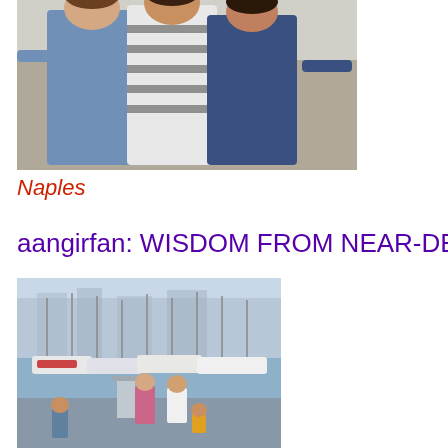[Figure (photo): Three people standing together outdoors in Naples, casual clothing, appears to be near a waterfront or wall]
Naples
aangirfan: WISDOM FROM NEAR-DEATH
[Figure (photo): Harbor scene with many sailboats and yachts moored at a dock, people visible in foreground near fuel pumps or dock equipment]